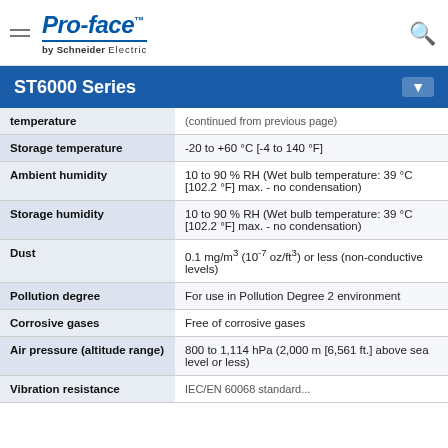Pro-face by Schneider Electric
ST6000 Series
| Property | Value |
| --- | --- |
| temperature | (truncated - partial row) |
| Storage temperature | -20 to +60 °C [-4 to 140 °F] |
| Ambient humidity | 10 to 90 % RH (Wet bulb temperature: 39 °C [102.2 °F] max. - no condensation) |
| Storage humidity | 10 to 90 % RH (Wet bulb temperature: 39 °C [102.2 °F] max. - no condensation) |
| Dust | 0.1 mg/m³ (10⁻⁷ oz/ft³) or less (non-conductive levels) |
| Pollution degree | For use in Pollution Degree 2 environment |
| Corrosive gases | Free of corrosive gases |
| Air pressure (altitude range) | 800 to 1,114 hPa (2,000 m [6,561 ft.] above sea level or less) |
| Vibration resistance | (IEC/EN 60068 standard...) |